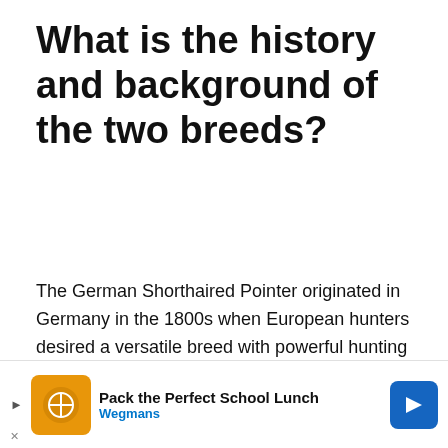What is the history and background of the two breeds?
The German Shorthaired Pointer originated in Germany in the 1800s when European hunters desired a versatile breed with powerful hunting abilities.
Many stories revolve around the main breeds that developed the GSP. Still, experts believe that the GSP originated from a cross between the old Spanish pointer and other traditional pointers such as the old German Pointer and Braque Francais.
[Figure (other): Advertisement banner at the bottom: Pack the Perfect School Lunch – Wegmans, with an orange icon and blue navigation arrow]